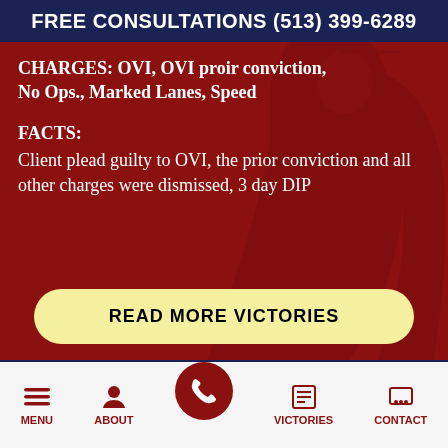FREE CONSULTATIONS (513) 399-6289
CHARGES: OVI, OVI proir conviction, No Ops., Marked Lanes, Speed
FACTS:
Client plead guilty to OVI, the prior conviction and all other charges were dismissed, 3 day DIP
READ MORE VICTORIES
MENU | ABOUT | [phone] | VICTORIES | CONTACT